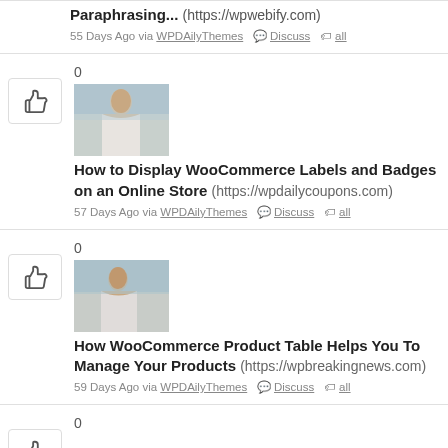Paraphrasing... (https://wpwebify.com)
55 Days Ago via WPDAilyThemes  Discuss  all
0
[Figure (photo): Thumbnail photo of a person outdoors]
How to Display WooCommerce Labels and Badges on an Online Store (https://wpdailycoupons.com)
57 Days Ago via WPDAilyThemes  Discuss  all
0
[Figure (photo): Thumbnail photo of a person outdoors]
How WooCommerce Product Table Helps You To Manage Your Products (https://wpbreakingnews.com)
59 Days Ago via WPDAilyThemes  Discuss  all
0